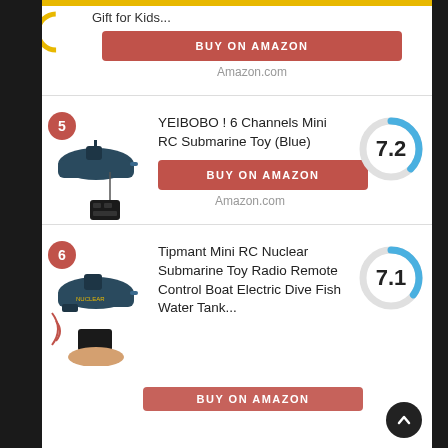Gift for Kids...
BUY ON AMAZON
Amazon.com
[Figure (other): Badge number 5 and RC submarine toy product image with remote control]
[Figure (donut-chart): Score 7.2]
YEIBOBO ! 6 Channels Mini RC Submarine Toy (Blue)
BUY ON AMAZON
Amazon.com
[Figure (other): Badge number 6 and mini RC nuclear submarine toy product image with hand holding remote]
[Figure (donut-chart): Score 7.1]
Tipmant Mini RC Nuclear Submarine Toy Radio Remote Control Boat Electric Dive Fish Water Tank...
BUY ON AMAZON